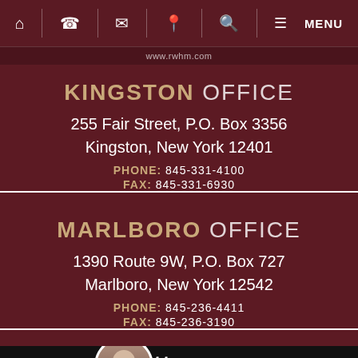www.rwhm.com
KINGSTON OFFICE
255 Fair Street, P.O. Box 3356
Kingston, New York 12401
PHONE: 845-331-4100
FAX: 845-331-6930
MARLBORO OFFICE
1390 Route 9W, P.O. Box 727
Marlboro, New York 12542
PHONE: 845-236-4411
FAX: 845-236-3190
[Figure (screenshot): Bottom bar with person photo, accessibility icon, and LIVE CHAT / START NOW button]